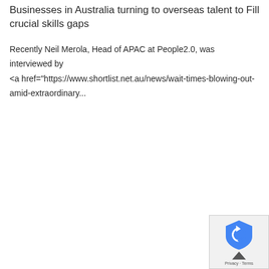Businesses in Australia turning to overseas talent to Fill crucial skills gaps
Recently Neil Merola, Head of APAC at People2.0, was interviewed by <a href="https://www.shortlist.net.au/news/wait-times-blowing-out-amid-extraordinary...
[Figure (other): reCAPTCHA badge widget in bottom-right corner with blue shield icon and Privacy/Terms text]